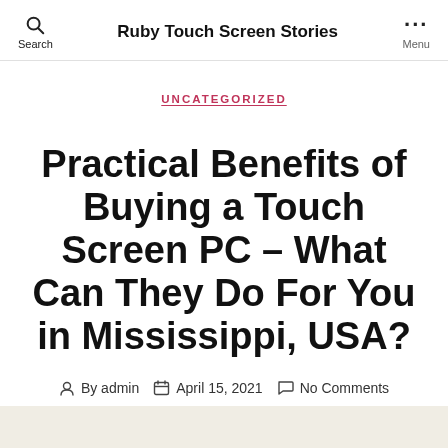Ruby Touch Screen Stories
UNCATEGORIZED
Practical Benefits of Buying a Touch Screen PC – What Can They Do For You in Mississippi, USA?
By admin  April 15, 2021  No Comments